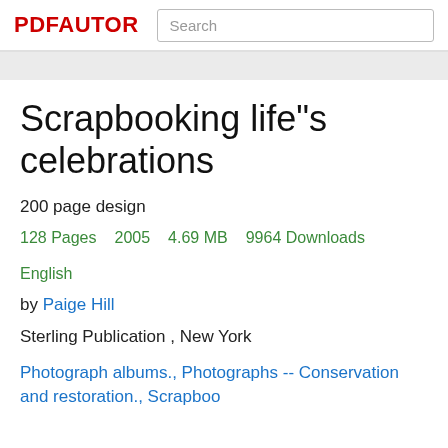PDFAUTOR  Search
Scrapbooking life"s celebrations
200 page design
128 Pages  2005  4.69 MB  9964 Downloads  English
by Paige Hill
Sterling Publication , New York
Photograph albums., Photographs -- Conservation and restoration., Scrapboo